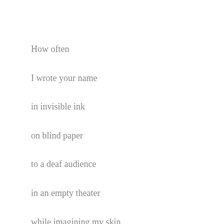How often
I wrote your name
in invisible ink
on blind paper
to a deaf audience
in an empty theater
while imagining my skin